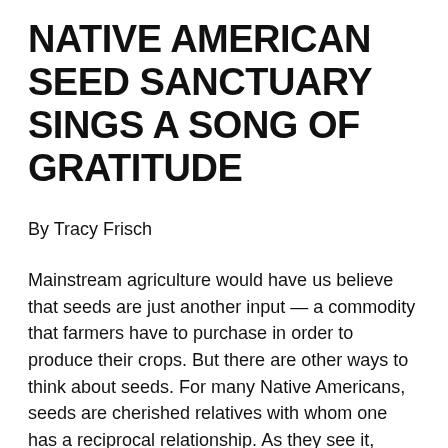NATIVE AMERICAN SEED SANCTUARY SINGS A SONG OF GRATITUDE
By Tracy Frisch
Mainstream agriculture would have us believe that seeds are just another input — a commodity that farmers have to purchase in order to produce their crops. But there are other ways to think about seeds. For many Native Americans, seeds are cherished relatives with whom one has a reciprocal relationship. As they see it, seeds take care of them and they take care of the seeds.